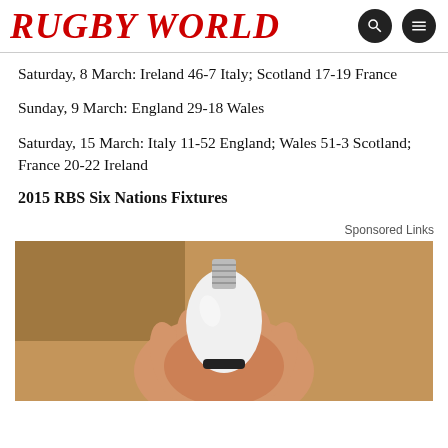RUGBY WORLD
Saturday, 8 March: Ireland 46-7 Italy; Scotland 17-19 France
Sunday, 9 March: England 29-18 Wales
Saturday, 15 March: Italy 11-52 England; Wales 51-3 Scotland; France 20-22 Ireland
2015 RBS Six Nations Fixtures
Sponsored Links
[Figure (photo): A hand holding a white smart light bulb, shown against a beige/brown wall background. The bulb has a silver screw base at top and a black band near the bottom.]